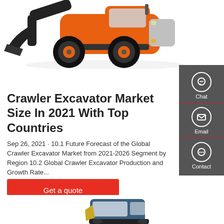[Figure (photo): Orange and black wheel loader / crawler excavator with large tires, photographed from the side against a white background.]
Crawler Excavator Market Size In 2021 With Top Countries
Sep 26, 2021 · 10.1 Future Forecast of the Global Crawler Excavator Market from 2021-2026 Segment by Region 10.2 Global Crawler Excavator Production and Growth Rate...
[Figure (other): Side panel UI with Chat, Email, and Contact icons on dark grey background.]
[Figure (photo): Partial view of a blue/yellow construction excavator cab at the bottom of the page.]